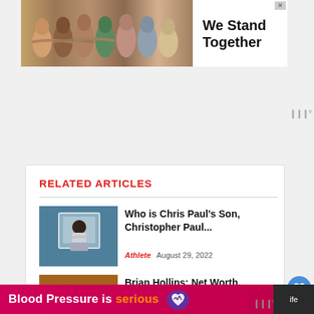[Figure (photo): Top banner advertisement showing people with arms around each other and text 'We Stand Together' with a close button]
RELATED ARTICLES
[Figure (photo): Photo of Christopher Paul, Chris Paul's son, in a basketball setting]
Who is Chris Paul's Son, Christopher Paul...
Athlete   August 29, 2022
[Figure (photo): Photo of Brian Hollins with overlay text BRIAN HOLLINS]
Brian Hollins: Net Worth, HBS, Golf, Podcast,...
Athlete   August 30, 2022
[Figure (infographic): Bottom advertisement: Blood Pressure is serious with purple heart logo]